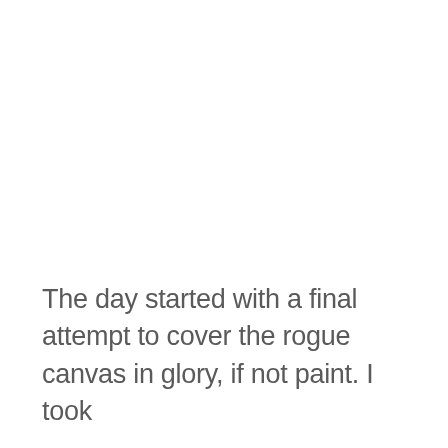The day started with a final attempt to cover the rogue canvas in glory, if not paint. I took